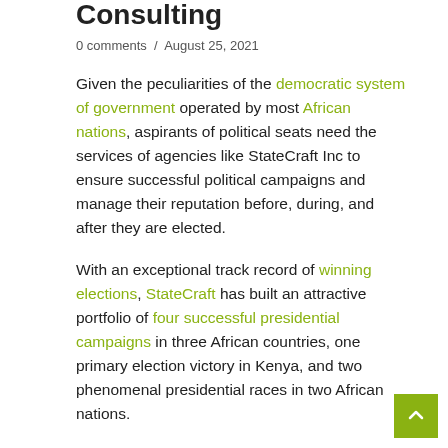Consulting
0 comments / August 25, 2021
Given the peculiarities of the democratic system of government operated by most African nations, aspirants of political seats need the services of agencies like StateCraft Inc to ensure successful political campaigns and manage their reputation before, during, and after they are elected.
With an exceptional track record of winning elections, StateCraft has built an attractive portfolio of four successful presidential campaigns in three African countries, one primary election victory in Kenya, and two phenomenal presidential races in two African nations.